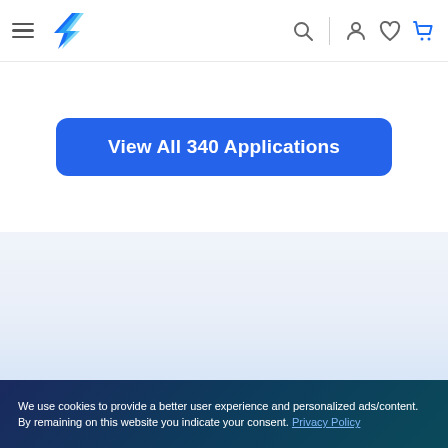Ubiquiti navigation bar with hamburger menu, logo, search, account, wishlist, and cart icons
View All 340 Applications
[Figure (screenshot): Light blue gradient background section below the button area]
We use cookies to provide a better user experience and personalized ads/content. By remaining on this website you indicate your consent. Privacy Policy